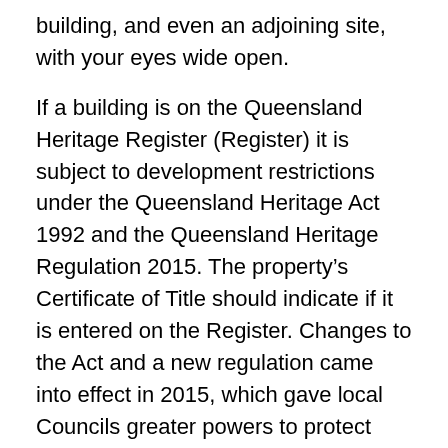building, and even an adjoining site, with your eyes wide open.
If a building is on the Queensland Heritage Register (Register) it is subject to development restrictions under the Queensland Heritage Act 1992 and the Queensland Heritage Regulation 2015. The property's Certificate of Title should indicate if it is entered on the Register. Changes to the Act and a new regulation came into effect in 2015, which gave local Councils greater powers to protect heritage places. Usually, a building is on the Register because it has an “aesthetic, architectural, scientific, social or other values that are important to the community*.” The ultimate goal is to protect its heritage significance, whilst balancing the needs of its current or future use.